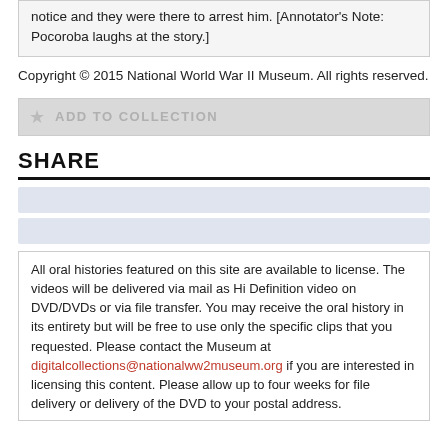notice and they were there to arrest him. [Annotator's Note: Pocoroba laughs at the story.]
Copyright © 2015 National World War II Museum. All rights reserved.
[Figure (other): ADD TO COLLECTION button with star icon, gray background]
SHARE
[Figure (other): Two blue-gray share/social media button bars]
All oral histories featured on this site are available to license. The videos will be delivered via mail as Hi Definition video on DVD/DVDs or via file transfer. You may receive the oral history in its entirety but will be free to use only the specific clips that you requested. Please contact the Museum at digitalcollections@nationalww2museum.org if you are interested in licensing this content. Please allow up to four weeks for file delivery or delivery of the DVD to your postal address.